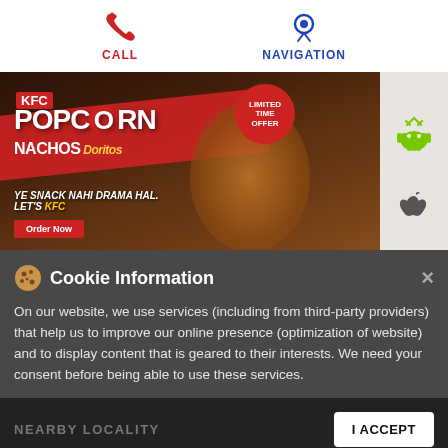CALL
NAVIGATION
[Figure (photo): KFC Popcorn Nachos Doritos advertisement banner with food imagery and Pepsi drink, LIMITED TIME OFFER badge, text: YE SNACK NAHI DRAMA HAL. LET'S KFC, Order Now button]
Cookie Information
On our website, we use services (including from third-party providers) that help us to improve our online presence (optimization of website) and to display content that is geared to their interests. We need your consent before being able to use these services.
NEARBY LOCALITY
I ACCEPT